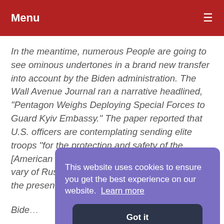Menu
In the meantime, numerous People are going to see ominous undertones in a brand new transfer into account by the Biden administration. The Wall Avenue Journal ran a narrative headlined, “Pentagon Weighs Deploying Special Forces to Guard Kyiv Embassy.” The paper reported that U.S. officers are contemplating sending elite troops “for the protection and safety of the [American embassy in Kyiv], which lies inside vary of Russian missiles.” The paper added that the presence of U.S. part... Biden... prob... Bide... probably be despatched into Ukraine – he pledged to not
This website uses cookies to ensure you get the best experience on our website.  Learn more
Got it